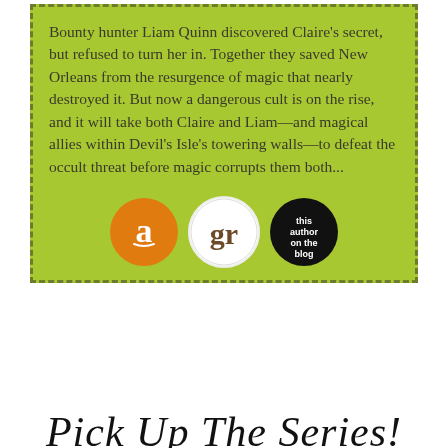Bounty hunter Liam Quinn discovered Claire’s secret, but refused to turn her in. Together they saved New Orleans from the resurgence of magic that nearly destroyed it. But now a dangerous cult is on the rise, and it will take both Claire and Liam—and magical allies within Devil’s Isle’s towering walls—to defeat the occult threat before magic corrupts them both...
[Figure (logo): Three circular icons: Amazon (orange with 'a'), Goodreads (white with 'gr'), and a black circle reading 'this author on the blog']
Pick Up The Series!
[Figure (photo): Two book covers for Chloe Neill's Devil's Isle series showing a red-haired woman against stormy sky backgrounds]